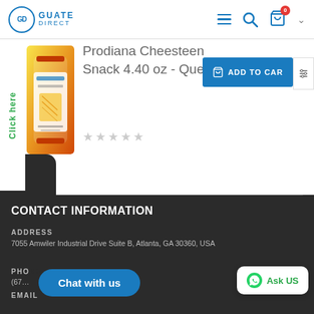GD GUATE DIRECT — navigation header with hamburger, search, and cart icons
Prodiana Cheesteen Snack 4.40 oz - Quesitos
[Figure (photo): Product image of Prodiana Cheesteen snack bag]
★★★★★ (empty stars rating)
ADD TO CART
CONTACT INFORMATION
ADDRESS
7055 Amwiler Industrial Drive Suite B, Atlanta, GA 30360, USA
PHONE
(67…
EMAIL
Chat with us
Ask US